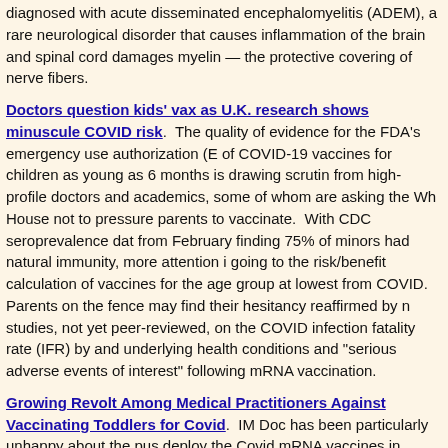diagnosed with acute disseminated encephalomyelitis (ADEM), a rare neurological disorder that causes inflammation of the brain and spinal cord damages myelin — the protective covering of nerve fibers.
Doctors question kids' vax as U.K. research shows minuscule COVID risk. The quality of evidence for the FDA's emergency use authorization (E of COVID-19 vaccines for children as young as 6 months is drawing scrutin from high-profile doctors and academics, some of whom are asking the Wh House not to pressure parents to vaccinate. With CDC seroprevalence dat from February finding 75% of minors had natural immunity, more attention i going to the risk/benefit calculation of vaccines for the age group at lowest from COVID. Parents on the fence may find their hesitancy reaffirmed by n studies, not yet peer-reviewed, on the COVID infection fatality rate (IFR) by and underlying health conditions and "serious adverse events of interest" following mRNA vaccination.
Growing Revolt Among Medical Practitioners Against Vaccinating Toddlers for Covid. IM Doc has been particularly unhappy about the pus deploy the Covid mRNA vaccines in children under five years of age. Base his many years working on an Institutional Review Board, he believe the ba safety testing for children, particularly very young ones, is high, and it has n been met for these vaccines. It turns out he is far from alone. It appears m medical practitioners are seeing vaccinating kids this young as a bridge too and some are flat out refusing to administer them.
Deranged COVID-clingers still want Broadway-goers to be put through Rikers-like procedures. It is hard to think of any sector of the economy th made itself more dislikeable than the theater industry during the era of COV Restaurants easily dropped the vaccine mandates and mask demands. Th became welcoming to customers again. Even the airline companies endec lifting the mask mandates and, just like the restaurants, people sat close